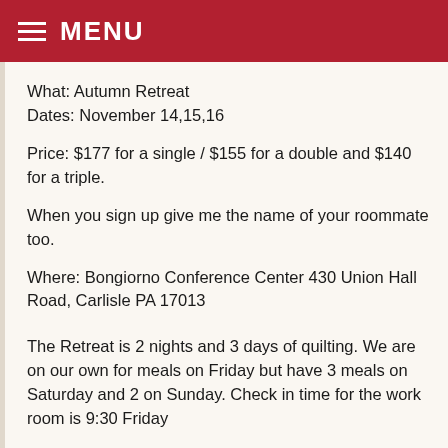MENU
What: Autumn Retreat
Dates: November 14,15,16
Price: $177 for a single / $155 for a double and $140 for a triple.
When you sign up give me the name of your roommate too.
Where: Bongiorno Conference Center 430 Union Hall Road, Carlisle PA 17013
The Retreat is 2 nights and 3 days of quilting. We are on our own for meals on Friday but have 3 meals on Saturday and 2 on Sunday. Check in time for the work room is 9:30 Friday